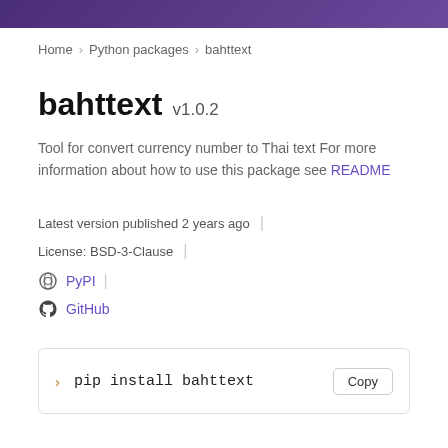Home > Python packages > bahttext
bahttext v1.0.2
Tool for convert currency number to Thai text For more information about how to use this package see README
Latest version published 2 years ago
License: BSD-3-Clause
PyPI
GitHub
> pip install bahttext   Copy